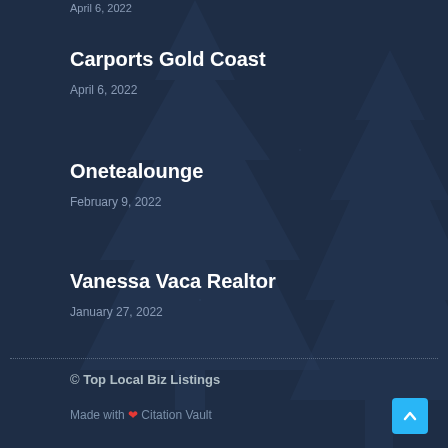April 6, 2022
Carports Gold Coast
April 6, 2022
Onetealounge
February 9, 2022
Vanessa Vaca Realtor
January 27, 2022
© Top Local Biz Listings
Made with ❤ Citation Vault